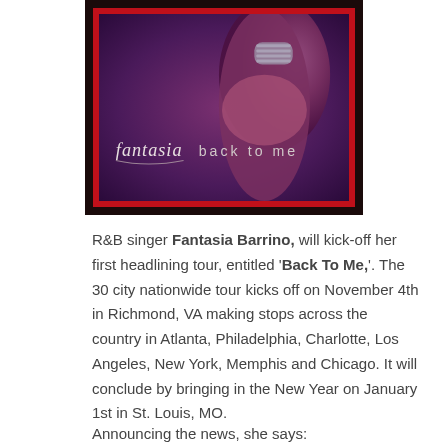[Figure (photo): Album cover for Fantasia Barrino's 'Back To Me'. Dark purple/maroon tones showing a partial figure, with the album title 'fantasia back to me' in white text overlaid. The cover is framed with a red border inside a dark brown/black outer border.]
R&B singer Fantasia Barrino, will kick-off her first headlining tour, entitled 'Back To Me,'. The 30 city nationwide tour kicks off on November 4th in Richmond, VA making stops across the country in Atlanta, Philadelphia, Charlotte, Los Angeles, New York, Memphis and Chicago. It will conclude by bringing in the New Year on January 1st in St. Louis, MO.
Announcing the news, she says: